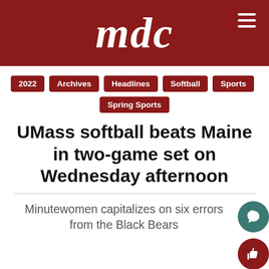mdc
2022
Archives
Headlines
Softball
Sports
Spring Sports
UMass softball beats Maine in two-game set on Wednesday afternoon
Minutewomen capitalizes on six errors from the Black Bears